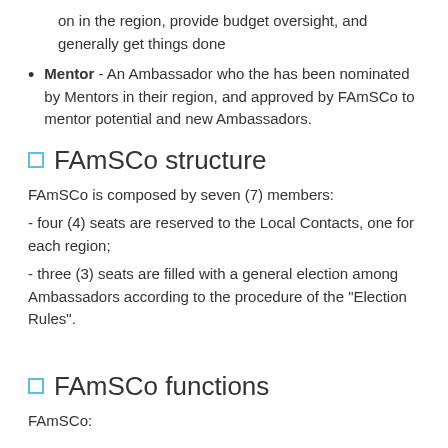on in the region, provide budget oversight, and generally get things done
Mentor - An Ambassador who the has been nominated by Mentors in their region, and approved by FAmSCo to mentor potential and new Ambassadors.
FAmSCo structure
FAmSCo is composed by seven (7) members:
- four (4) seats are reserved to the Local Contacts, one for each region;
- three (3) seats are filled with a general election among Ambassadors according to the procedure of the "Election Rules".
FAmSCo functions
FAmSCo: